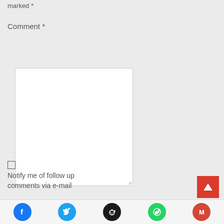marked *
Comment *
[Figure (screenshot): Empty comment text area input box with resize handle]
[Figure (screenshot): Checkbox (unchecked)]
Notify me of follow up comments via e-mail
[Figure (infographic): Scroll-to-top button (red with white up arrow) and social share icons: Facebook, Twitter, Reddit, WhatsApp, Gmail]